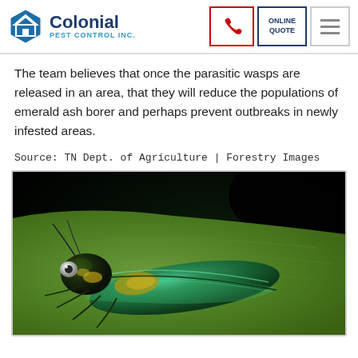Colonial Pest Control Inc.
The team believes that once the parasitic wasps are released in an area, that they will reduce the populations of emerald ash borer and perhaps prevent outbreaks in newly infested areas.
Source: TN Dept. of Agriculture | Forestry Images
[Figure (photo): Close-up macro photograph of an emerald ash borer beetle, showing its iridescent green and dark body resting on a green leaf against a dark background.]